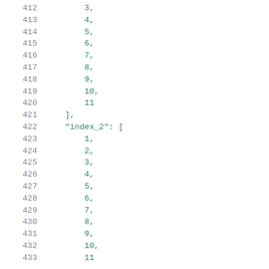412    3,
413    4,
414    5,
415    6,
416    7,
417    8,
418    9,
419    10,
420    11
421  ],
422  "index_2": [
423    1,
424    2,
425    3,
426    4,
427    5,
428    6,
429    7,
430    8,
431    9,
432    10,